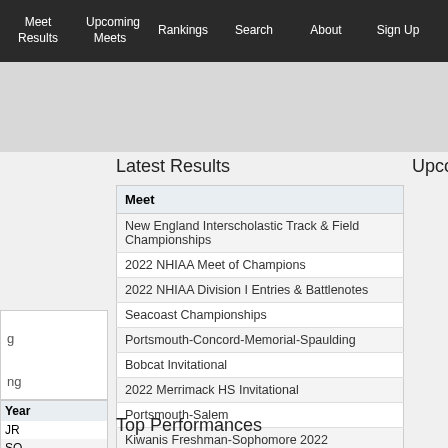Meet Results | Upcoming Meets | Rankings | Search | About | Sign Up | Log in troubl...
Latest Results
| Meet |
| --- |
| New England Interscholastic Track & Field Championships |
| 2022 NHIAA Meet of Champions |
| 2022 NHIAA Division I Entries & Battlenotes |
| Seacoast Championships |
| Portsmouth-Concord-Memorial-Spaulding |
| Bobcat Invitational |
| 2022 Merrimack HS Invitational |
| Portsmouth-Salem |
| Kiwanis Freshman-Sophomore 2022 |
| Clipper Relays |
Upcoming Meets
| Year |
| --- |
| JR |
| SO |
| SR |
| SO |
Top Performances